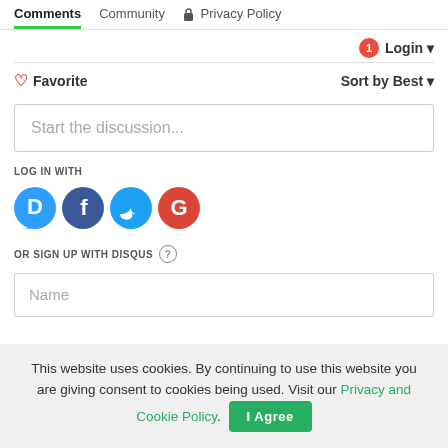Comments   Community   🔒 Privacy Policy
1   Login ▾
♡ Favorite   Sort by Best ▾
Start the discussion...
LOG IN WITH
[Figure (logo): Social login icons: Disqus (blue speech bubble with D), Facebook (dark blue circle with f), Twitter (blue circle with bird), Google (red/blue circle with G)]
OR SIGN UP WITH DISQUS ?
Name
This website uses cookies. By continuing to use this website you are giving consent to cookies being used. Visit our Privacy and Cookie Policy.
I Agree